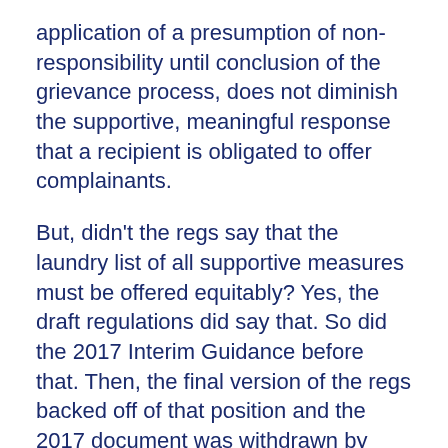application of a presumption of non-responsibility until conclusion of the grievance process, does not diminish the supportive, meaningful response that a recipient is obligated to offer complainants.
But, didn't the regs say that the laundry list of all supportive measures must be offered equitably? Yes, the draft regulations did say that. So did the 2017 Interim Guidance before that. Then, the final version of the regs backed off of that position and the 2017 document was withdrawn by OCR. This decision by OCR was discussed at length in the preamble. Despite backing off of the position in the draft, ED cleverly wrote the regs to de-emphasize this shift to all but the most careful readers. So, should you provide equitable supports to all parties? Yes, to the extent it makes sense to do so. But, do you have to